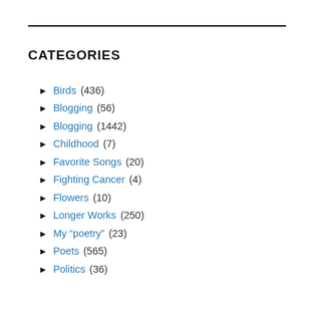CATEGORIES
► Birds (436)
► Blogging (56)
► Blogging (1442)
► Childhood (7)
► Favorite Songs (20)
► Fighting Cancer (4)
► Flowers (10)
► Longer Works (250)
► My “poetry” (23)
► Poets (565)
► Politics (36)